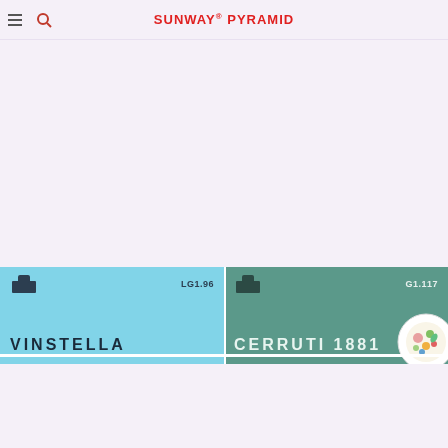SUNWAY PYRAMID
[Figure (screenshot): Two store listing cards side by side on a mall directory website. Left card: light blue background, store code LG1.96, store name VINSTELLA in dark bold uppercase letters. Right card: teal/dark cyan background, store code G1.117, store name CERRUTI 1881 in light colored bold uppercase letters, with a decorative circular illustration in the bottom right corner.]